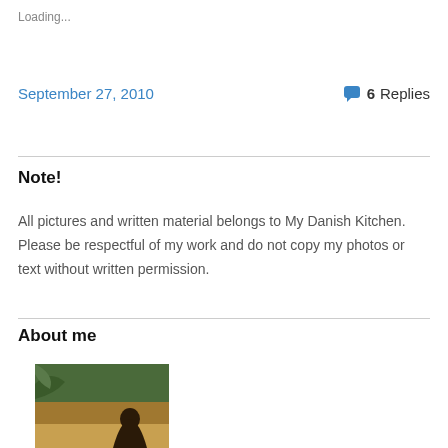Loading...
September 27, 2010
6 Replies
Note!
All pictures and written material belongs to My Danish Kitchen. Please be respectful of my work and do not copy my photos or text without written permission.
About me
[Figure (photo): A person photographed near water with trees in background, sepia/warm toned image]